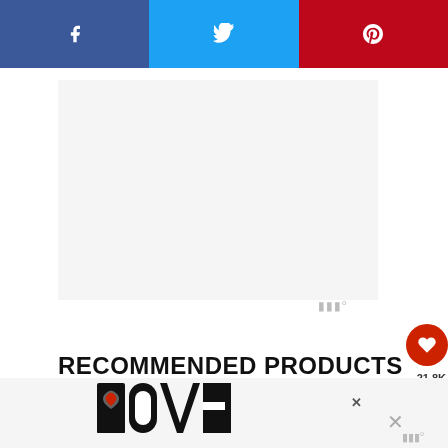[Figure (other): Social share bar with Facebook (blue), Twitter (light blue), and Pinterest (red) buttons with icons]
[Figure (other): Advertisement placeholder area (white/light gray box)]
RECOMMENDED PRODUCTS
As an Amazon Associate and member of other affiliate programs, I earn from qualifying purchases.
[Figure (other): Decorative LOVE typographic image with ornate black and white patterned letters]
[Figure (other): What's Next panel showing Easy Grissini Breadstick... with bread image]